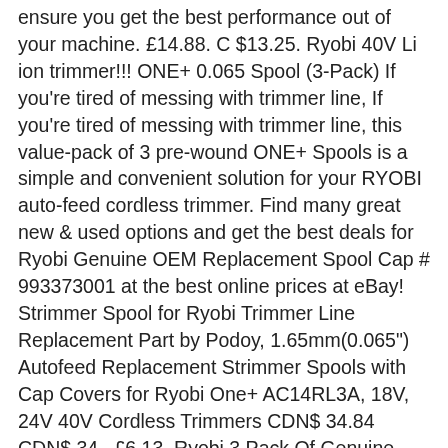ensure you get the best performance out of your machine. £14.88. C $13.25. Ryobi 40V Li ion trimmer!!! ONE+ 0.065 Spool (3-Pack) If you're tired of messing with trimmer line, If you're tired of messing with trimmer line, this value-pack of 3 pre-wound ONE+ Spools is a simple and convenient solution for your RYOBI auto-feed cordless trimmer. Find many great new & used options and get the best deals for Ryobi Genuine OEM Replacement Spool Cap # 993373001 at the best online prices at eBay! Strimmer Spool for Ryobi Trimmer Line Replacement Part by Podoy, 1.65mm(0.065") Autofeed Replacement Strimmer Spools with Cap Covers for Ryobi One+ AC14RL3A, 18V, 24V 40V Cordless Trimmers CDN$ 34.84 CDN$ 34 . £6.13. Ryobi 3 Pack Of Genuine OEM Replacement Spool Caps # 3411546-7G-3PK. Pack of 3 Genuine Ryobi RAC119 Replacement Spools, 1.2mm, Brand New & Sealed. RYOBI: Homelite: Name: Pre-Cut 18.5 in Long 0.155 in. 4pcs Replacement Spool For Ryobi One And AC14RL3AOEM Grass Trimmer Head Garden. Replacement Trimmer Line for Cub Cadet Walk-Behind Trimmer Mowers: 120 in. The Residual...